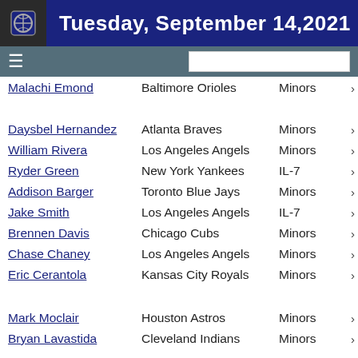Tuesday, September 14,2021
| Player | Team | Status |
| --- | --- | --- |
| Malachi Emond | Baltimore Orioles | Minors |
| Daysbel Hernandez | Atlanta Braves | Minors |
| William Rivera | Los Angeles Angels | Minors |
| Ryder Green | New York Yankees | IL-7 |
| Addison Barger | Toronto Blue Jays | Minors |
| Jake Smith | Los Angeles Angels | IL-7 |
| Brennen Davis | Chicago Cubs | Minors |
| Chase Chaney | Los Angeles Angels | Minors |
| Eric Cerantola | Kansas City Royals | Minors |
| Mark Moclair | Houston Astros | Minors |
| Bryan Lavastida | Cleveland Indians | Minors |